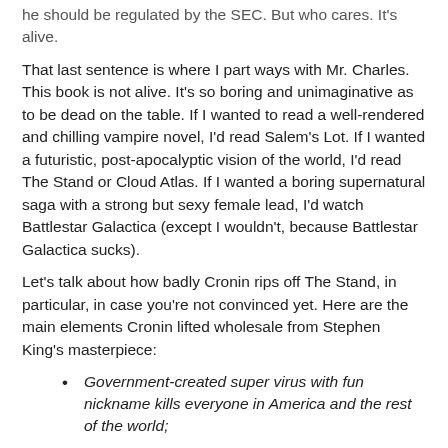he should be regulated by the SEC. But who cares. It's alive.
That last sentence is where I part ways with Mr. Charles. This book is not alive. It's so boring and unimaginative as to be dead on the table. If I wanted to read a well-rendered and chilling vampire novel, I'd read Salem's Lot. If I wanted a futuristic, post-apocalyptic vision of the world, I'd read The Stand or Cloud Atlas. If I wanted a boring supernatural saga with a strong but sexy female lead, I'd watch Battlestar Galactica (except I wouldn't, because Battlestar Galactica sucks).
Let's talk about how badly Cronin rips off The Stand, in particular, in case you're not convinced yet. Here are the main elements Cronin lifted wholesale from Stephen King's masterpiece:
Government-created super virus with fun nickname kills everyone in America and the rest of the world;
Survivors of virus experience dreams of forces of good and/or evil as embodied by a good woman and an evil man;
Survivors escape to the Western United States, including Colorado and Las Vegas, of all places; and